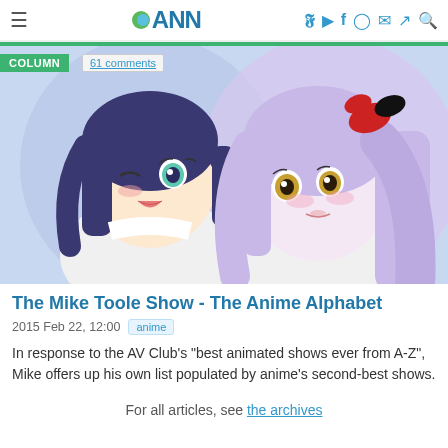ANN - Anime News Network navigation bar
[Figure (illustration): Two anime-style female characters. Left character has dark blue/purple hair with teal eyes, wearing white outfit, winking and smiling. Right character has long lavender/silver hair with red and black hair accessories, wearing white, with golden/amber eyes.]
The Mike Toole Show - The Anime Alphabet
2015 Feb 22, 12:00  anime
In response to the AV Club's "best animated shows ever from A-Z", Mike offers up his own list populated by anime's second-best shows.
For all articles, see the archives